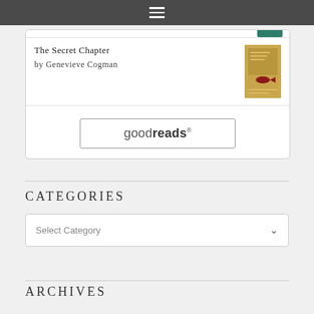[Figure (screenshot): Navigation hamburger menu icon on dark grey bar]
The Secret Chapter
by Genevieve Cogman
[Figure (photo): Book cover for The Secret Chapter by Genevieve Cogman]
[Figure (logo): Goodreads button/logo]
CATEGORIES
Select Category
ARCHIVES